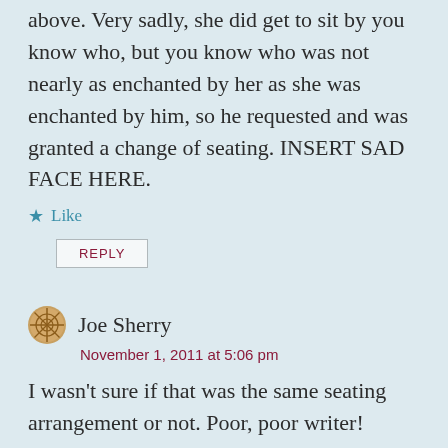above. Very sadly, she did get to sit by you know who, but you know who was not nearly as enchanted by her as she was enchanted by him, so he requested and was granted a change of seating. INSERT SAD FACE HERE.
Like
REPLY
Joe Sherry
November 1, 2011 at 5:06 pm
I wasn't sure if that was the same seating arrangement or not. Poor, poor writer!
Like